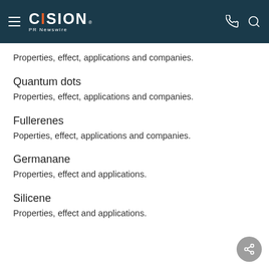CISION PR Newswire
Properties, effect, applications and companies.
Quantum dots
Properties, effect, applications and companies.
Fullerenes
Poperties, effect, applications and companies.
Germanane
Properties, effect and applications.
Silicene
Properties, effect and applications.